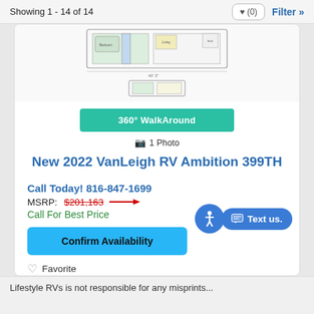Showing 1 - 14 of 14   ♥ (0)   Filter »
[Figure (schematic): Floor plan/layout diagram of the VanLeigh RV Ambition 399TH showing top-down schematic view of the RV interior]
360° WalkAround
📷 1 Photo
New 2022 VanLeigh RV Ambition 399TH
Call Today! 816-847-1699
MSRP: $201,163
Call For Best Price
Confirm Availability
Favorite
Lifestyle RVs is not responsible for any misprints...